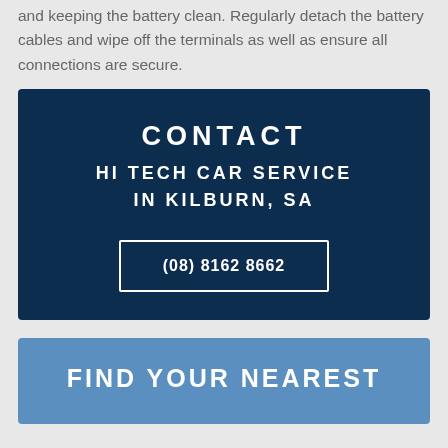and keeping the battery clean. Regularly detach the battery cables and wipe off the terminals as well as ensure all connections are secure.
CONTACT HI TECH CAR SERVICE IN KILBURN, SA
(08) 8162 8662
FIND YOUR NEAREST